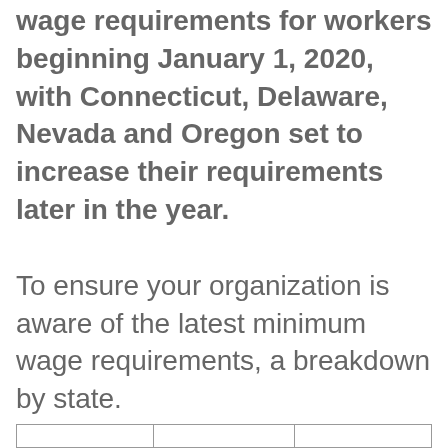wage requirements for workers beginning January 1, 2020, with Connecticut, Delaware, Nevada and Oregon set to increase their requirements later in the year.
To ensure your organization is aware of the latest minimum wage requirements, a breakdown by state.
|   |   |   |